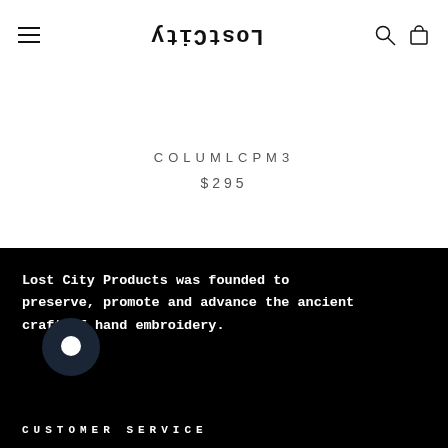LostCity [logo, mirrored/flipped]
COLUMLCPM3
$295
Lost City Products was founded to preserve, promote and advance the ancient craft of hand embroidery.
CUSTOMER SERVICE